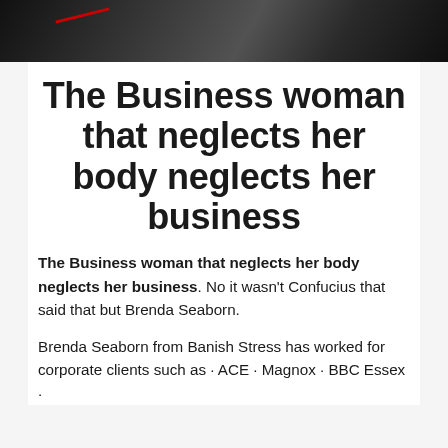[Figure (photo): Dark overhead photo of a desk with a phone and red cable, cropped at top]
The Business woman that neglects her body neglects her business
The Business woman that neglects her body neglects her business. No it wasn't Confucius that said that but Brenda Seaborn.
Brenda Seaborn from Banish Stress has worked for corporate clients such as · ACE · Magnox · BBC Essex ·